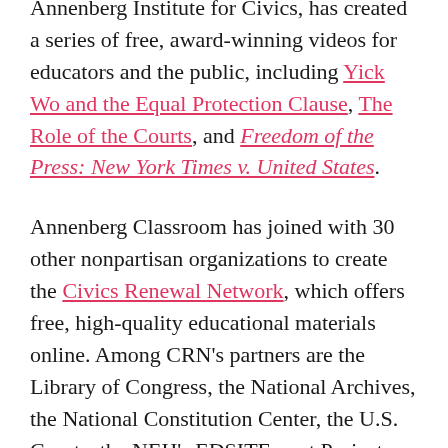Annenberg Institute for Civics, has created a series of free, award-winning videos for educators and the public, including Yick Wo and the Equal Protection Clause, The Role of the Courts, and Freedom of the Press: New York Times v. United States.
Annenberg Classroom has joined with 30 other nonpartisan organizations to create the Civics Renewal Network, which offers free, high-quality educational materials online. Among CRN's partners are the Library of Congress, the National Archives, the National Constitution Center, the U.S. Courts, the NEH's EDSITEment Project and iCivics.
Constitution Day (Sept. 17) will be celebrated Monday, Sept. 18. To mark it, the U.S. Courts are holding